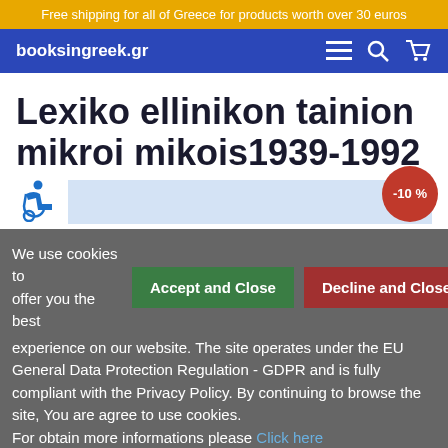Free shipping for all of Greece for products worth over 30 euros
booksingreek.gr
Lexiko ellinikon tainion mikroi mikois1939-1992
[Figure (other): Discount badge showing -10%]
We use cookies to offer you the best experience on our website. The site operates under the EU General Data Protection Regulation - GDPR and is fully compliant with the Privacy Policy. By continuing to browse the site, You are agree to use cookies.
For obtain more informations please Click here